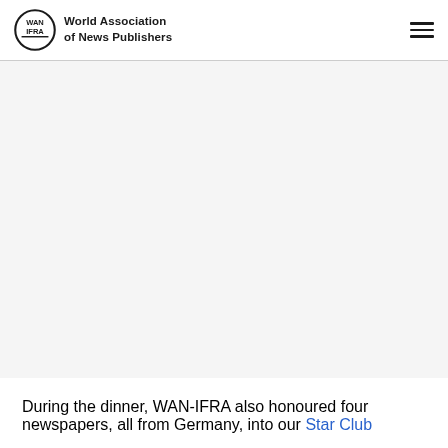World Association of News Publishers
[Figure (photo): Large image area, appears blank/white in this view, likely a photo related to WAN-IFRA dinner event]
During the dinner, WAN-IFRA also honoured four newspapers, all from Germany, into our Star Club